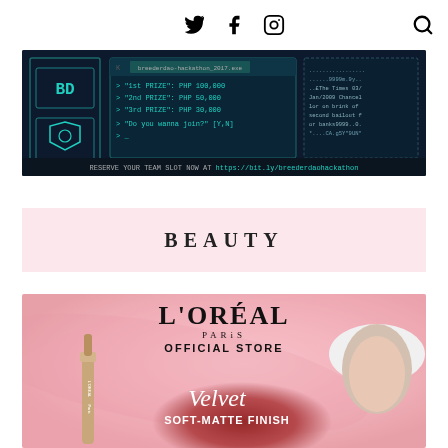Social icons (Twitter, Facebook, Instagram) and search icon
[Figure (screenshot): Hackathon promotional banner with dark navy background showing terminal/code aesthetic. Text: '1st PRIZE: PHP 100,000', '2nd PRIZE: PHP 50,000', '3rd PRIZE: PHP 30,000', 'Do you wanna join? [Y,N]', 'RESERVE YOUR TEAM SLOT NOW AT https://bit.ly/breederdaohackathon']
BEAUTY
[Figure (photo): L'Oreal Paris Official Store advertisement with pink background. Shows L'OREAL PARIS OFFICIAL STORE branding and a mascara/lipstick product with text 'Velvet SOFT-MATTE FINISH'. A woman wearing a white beret is partially visible on the right.]